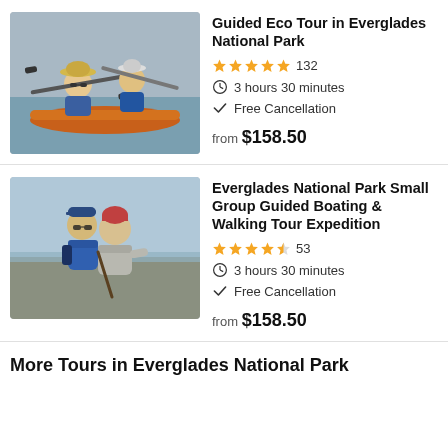[Figure (photo): Two people kayaking in the Everglades, wearing life jackets and hats, holding paddles]
Guided Eco Tour in Everglades National Park
★★★★★ 132
3 hours 30 minutes
Free Cancellation
from $158.50
[Figure (photo): Two people walking along a shoreline, one in blue jacket and one in light grey puffer jacket]
Everglades National Park Small Group Guided Boating & Walking Tour Expedition
★★★★½ 53
3 hours 30 minutes
Free Cancellation
from $158.50
More Tours in Everglades National Park